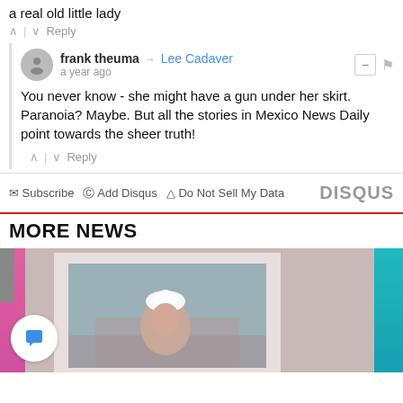a real old little lady
↑ | ↓ Reply
frank theuma → Lee Cadaver
a year ago
You never know - she might have a gun under her skirt. Paranoia? Maybe. But all the stories in Mexico News Daily point towards the sheer truth!
↑ | ↓ Reply
Subscribe  Add Disqus  Do Not Sell My Data  DISQUS
MORE NEWS
[Figure (photo): A framed photograph of a young child wearing a white floral headpiece, surrounded by colorful background items. A chat bubble icon is visible in the lower left.]